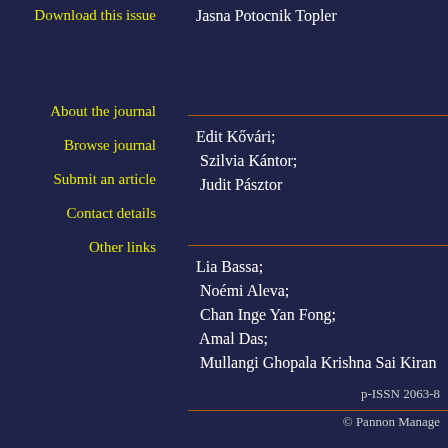Download this issue
Jasna Potocnik Topler
About the journal
Browse journal
Submit an article
Contact details
Other links
Edit Kővári;
 Szilvia Kántor;
 Judit Pásztor
Lia Bassa;
 Noémi Aleva;
 Chan Inge Yan Fong;
 Amal Das;
 Mullangi Ghopala Krishna Sai Kiran
p-ISSN 2063-8
© Pannon Manage